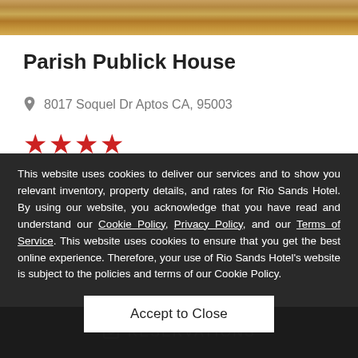[Figure (photo): Food photo at top of listing card showing fried food items]
Parish Publick House
8017 Soquel Dr Aptos CA, 95003
[Figure (other): 4 red star rating icons]
This website uses cookies to deliver our services and to show you relevant inventory, property details, and rates for Rio Sands Hotel. By using our website, you acknowledge that you have read and understand our Cookie Policy, Privacy Policy, and our Terms of Service. This website uses cookies to ensure that you get the best online experience. Therefore, your use of Rio Sands Hotel's website is subject to the policies and terms of our Cookie Policy.
Accept to Close
RESERVATIONS